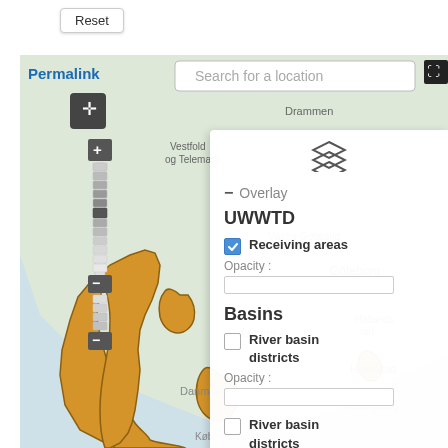Reset
[Figure (map): Interactive web map showing Scandinavia and Denmark region with orange-highlighted areas representing UWWTD receiving areas. Map shows cities including Drammen, Vestfold og Telemark, Göteborg, Aalborg, Danmark, Halmstad, Helsingborg, København. Navigation controls visible on left including pan control and zoom slider.]
Permalink
Search for a location
- Overlay
UWWTD
Receiving areas
Opacity :
Basins
River basin districts
Opacity :
River basin districts subunits